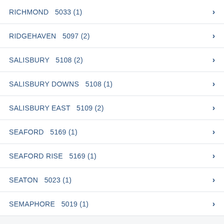RICHMOND  5033 (1)
RIDGEHAVEN  5097 (2)
SALISBURY  5108 (2)
SALISBURY DOWNS  5108 (1)
SALISBURY EAST  5109 (2)
SEAFORD  5169 (1)
SEAFORD RISE  5169 (1)
SEATON  5023 (1)
SEMAPHORE  5019 (1)